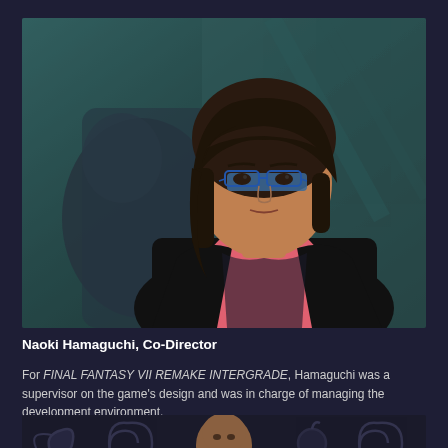[Figure (photo): Portrait photo of Naoki Hamaguchi, a person with dark shoulder-length hair, glasses with blue frames, wearing a black blazer over a pink/coral shirt. Background is blurred teal/dark tones with a game character silhouette.]
Naoki Hamaguchi, Co-Director
For FINAL FANTASY VII REMAKE INTERGRADE, Hamaguchi was a supervisor on the game's design and was in charge of managing the development environment.
[Figure (photo): Bottom portion of a second photo showing a man with a shaved head against a dark background with decorative swirling patterns.]